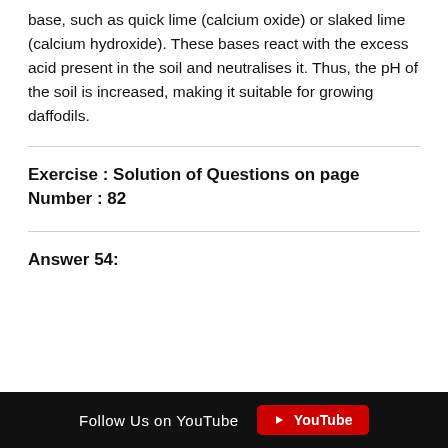base, such as quick lime (calcium oxide) or slaked lime (calcium hydroxide). These bases react with the excess acid present in the soil and neutralises it. Thus, the pH of the soil is increased, making it suitable for growing daffodils.
Exercise : Solution of Questions on page Number : 82
Answer 54:
Follow Us on YouTube